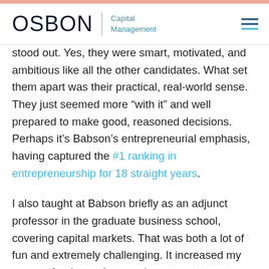OSBON Capital Management
stood out. Yes, they were smart, motivated, and ambitious like all the other candidates. What set them apart was their practical, real-world sense. They just seemed more “with it” and well prepared to make good, reasoned decisions. Perhaps it’s Babson’s entrepreneurial emphasis, having captured the #1 ranking in entrepreneurship for 18 straight years.
I also taught at Babson briefly as an adjunct professor in the graduate business school, covering capital markets. That was both a lot of fun and extremely challenging. It increased my respect for the professors there.